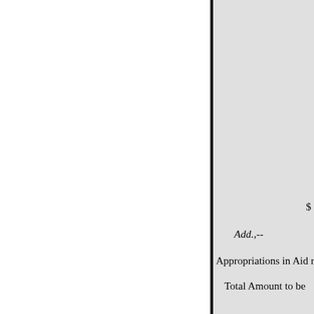$
Add.,--
Appropriations in Aid realis
Total Amount to be
STORE ACCOUNTS. 7. A tes Examination of Store satisfactory results, in L decounts. REVENUE. 8. The Ad Examination of Revenue Chief Offices in Lon Account. satisfactory, and the
John A. Kempe,
Comptroller and Auditor G